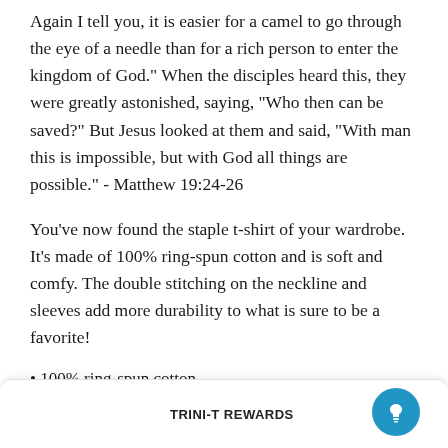Again I tell you, it is easier for a camel to go through the eye of a needle than for a rich person to enter the kingdom of God." When the disciples heard this, they were greatly astonished, saying, "Who then can be saved?" But Jesus looked at them and said, "With man this is impossible, but with God all things are possible." - Matthew 19:24-26
You've now found the staple t-shirt of your wardrobe. It's made of 100% ring-spun cotton and is soft and comfy. The double stitching on the neckline and sleeves add more durability to what is sure to be a favorite!
100% ring-spun cotton
Sport Grey is 90% ring-spun cotton, 10% polyester
Dark Heather is 65% polyester, 35% cotton
4.5 oz/y² (153 g/m²)
Pre-shrunk
Shoulder-to-shoulder taping